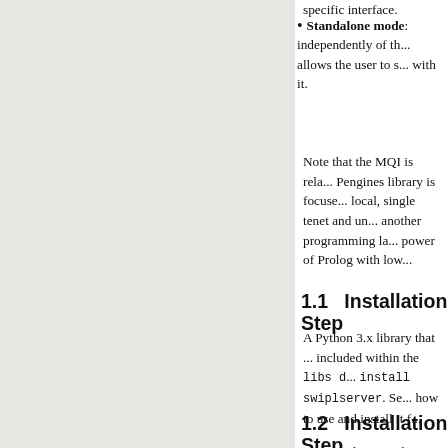Standalone mode: independently of the ... allows the user to s... with it.
Note that the MQI is rela... Pengines library is focuse... local, single tenet and un... another programming la... power of Prolog with low...
1.1   Installation Step
A Python 3.x library that ... included within the libs d... install swiplserver. Se... how to use and install it f...
1.2   Installation Step
In general, to use the Mac...